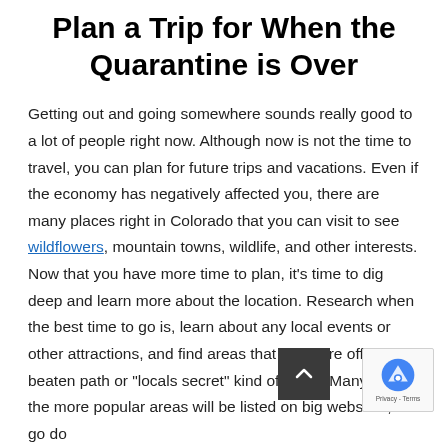Plan a Trip for When the Quarantine is Over
Getting out and going somewhere sounds really good to a lot of people right now. Although now is not the time to travel, you can plan for future trips and vacations. Even if the economy has negatively affected you, there are many places right in Colorado that you can visit to see wildflowers, mountain towns, wildlife, and other interests. Now that you have more time to plan, it’s time to dig deep and learn more about the location. Research when the best time to go is, learn about any local events or other attractions, and find areas that are more off the beaten path or “locals secret” kind of place. Many times the more popular areas will be listed on big websites, but go do